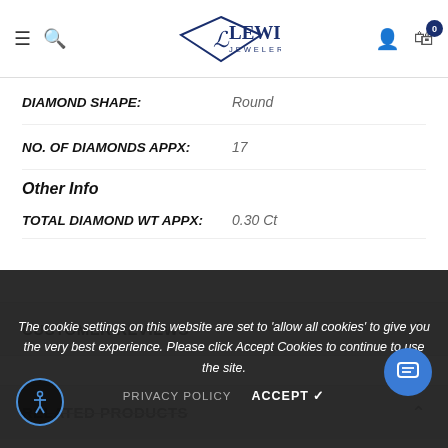Lewis Jewelers — navigation header with hamburger, search, logo, account, and cart icons
| Attribute | Value |
| --- | --- |
| DIAMOND SHAPE: | Round |
| NO. OF DIAMONDS APPX: | 17 |
| Other Info |  |
| TOTAL DIAMOND WT APPX: | 0.30 Ct |
CUSTOMER REVIEWS
RELATED PRODUCTS
The cookie settings on this website are set to 'allow all cookies' to give you the very best experience. Please click Accept Cookies to continue to use the site.
PRIVACY POLICY   ACCEPT ✔